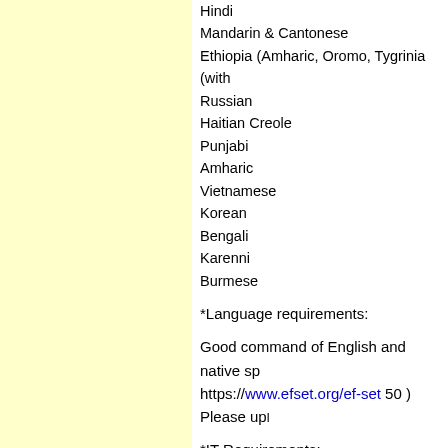Hindi
Mandarin & Cantonese
Ethiopia (Amharic, Oromo, Tygrinia (with
Russian
Haitian Creole
Punjabi
Amharic
Vietnamese
Korean
Bengali
Karenni
Burmese
*Language requirements:
Good command of English and native sp... https://www.efset.org/ef-set 50 ) Please up...
*IT Requirements:
- USB Headphones
- Ethernet direct data cable for internet (W...
- CPU Celeron not accepted (preferable t...
- 8/4 Gb RAM
Internet Requirements:
- Local test
Ping: less then35ms /
Download: minimum 8mbps /
Upload: minimum 4mbps
Portland test: